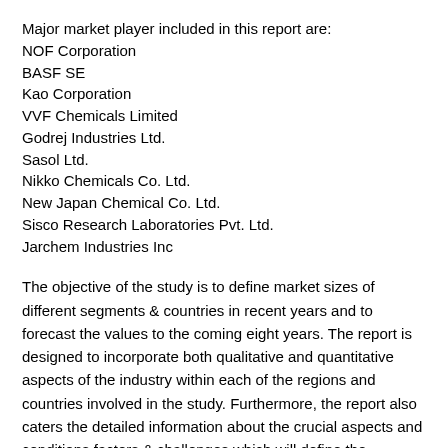Major market player included in this report are:
NOF Corporation
BASF SE
Kao Corporation
VVF Chemicals Limited
Godrej Industries Ltd.
Sasol Ltd.
Nikko Chemicals Co. Ltd.
New Japan Chemical Co. Ltd.
Sisco Research Laboratories Pvt. Ltd.
Jarchem Industries Inc
The objective of the study is to define market sizes of different segments & countries in recent years and to forecast the values to the coming eight years. The report is designed to incorporate both qualitative and quantitative aspects of the industry within each of the regions and countries involved in the study. Furthermore, the report also caters the detailed information about the crucial aspects and conditions factors & challenges which will define the